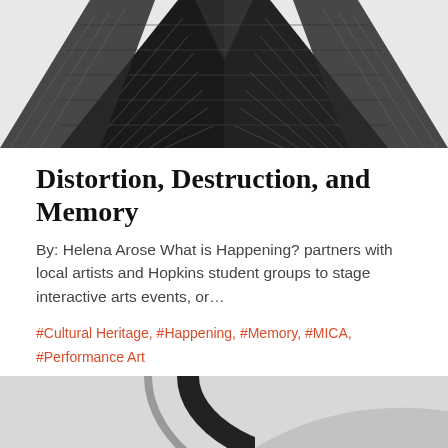[Figure (photo): Black and white architectural photo of mirrored glass skyscraper facades forming a chevron/diamond pattern, viewed from below]
Distortion, Destruction, and Memory
By: Helena Arose What is Happening? partners with local artists and Hopkins student groups to stage interactive arts events, or…
#Cultural Heritage, #Happening, #Memory, #MICA, #Performance Art
[Figure (photo): Partial view of a curved architectural element, black and white, likely a close-up of a modern building's curved exterior or sculpture]